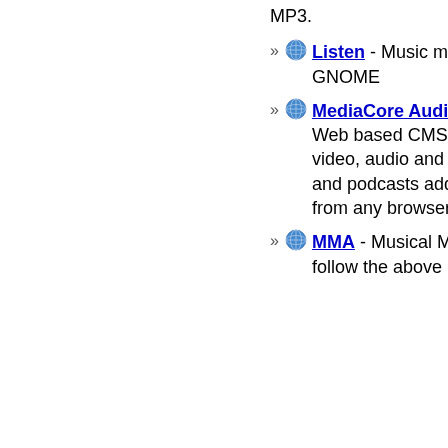MP3.
Listen - Music management and playback for GNOME
MediaCore Audio/Podcast Player and CMS - Web based CMS for music management in video, audio and podcast form. All audio, video, and podcasts added to the system are playable from any browser.
MMA - Musical Midi Accompaniment. If you follow the above link you will find that